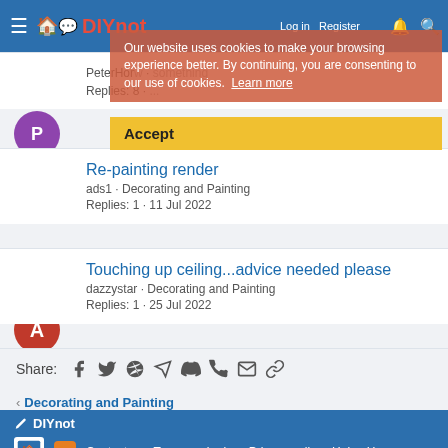DIYnot · Log in · Register
Our website uses cookies to make your browsing experience better. By continuing, you are consenting to our use of cookies. Learn more
Accept
Re-painting render
ads1 · Decorating and Painting
Replies: 1 · 11 Jul 2022
Touching up ceiling...advice needed please
dazzystar · Decorating and Painting
Replies: 1 · 25 Jul 2022
Share:
< Decorating and Painting
DIYnot · Contact us · Terms and rules · Privacy policy · Help · Home